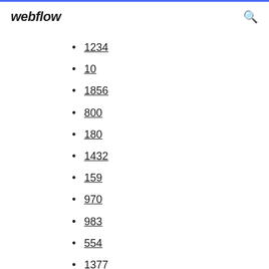webflow
1234
10
1856
800
180
1432
159
970
983
554
1377
1060